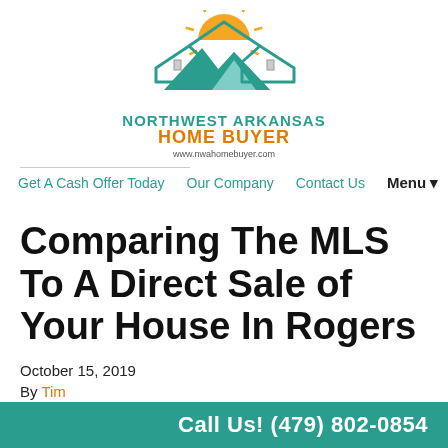[Figure (logo): Northwest Arkansas Home Buyer logo with teal house silhouette and orange sun, text 'NORTHWEST ARKANSAS HOME BUYER' and website www.nwahomebuyer.com]
Get A Cash Offer Today   Our Company   Contact Us   Menu▾
Comparing The MLS To A Direct Sale of Your House In Rogers
October 15, 2019
By Tim
Is listing really the best choice for your house? In our latest
Call Us! (479) 802-0854